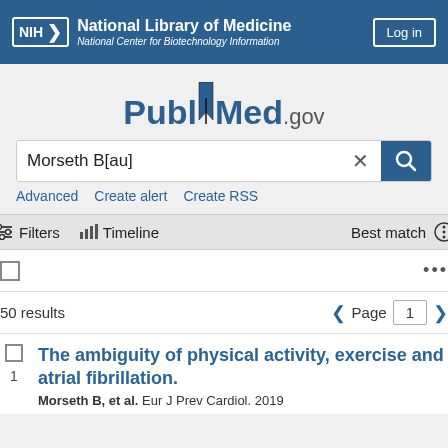NIH National Library of Medicine National Center for Biotechnology Information | Log in
[Figure (logo): PubMed.gov logo with blue bookmark icon]
Morseth B[au]
Advanced   Create alert   Create RSS
Filters   Timeline   Best match
50 results   Page 1
The ambiguity of physical activity, exercise and atrial fibrillation.
Morseth B, et al. Eur J Prev Cardiol. 2019